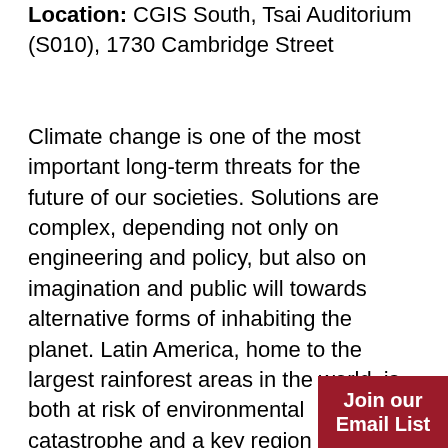Location: CGIS South, Tsai Auditorium (S010), 1730 Cambridge Street
Climate change is one of the most important long-term threats for the future of our societies. Solutions are complex, depending not only on engineering and policy, but also on imagination and public will towards alternative forms of inhabiting the planet. Latin America, home to the largest rainforest areas in the world, is both at risk of environmental catastrophe and a key region in which models for thriving bioeconomies based on rain can evolve. This symposium will bring t experts and leaders from the US and Latin America to discuss the past, present and
Join our Email List